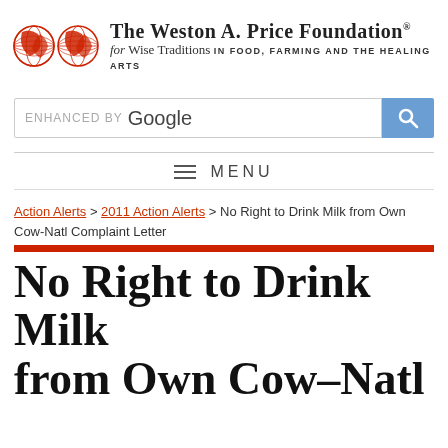[Figure (logo): The Weston A. Price Foundation logo with two red globe icons and organization name]
[Figure (screenshot): Google enhanced search bar with blue search button]
≡  MENU
Action Alerts > 2011 Action Alerts > No Right to Drink Milk from Own Cow-Natl Complaint Letter
No Right to Drink Milk from Own Cow-Natl